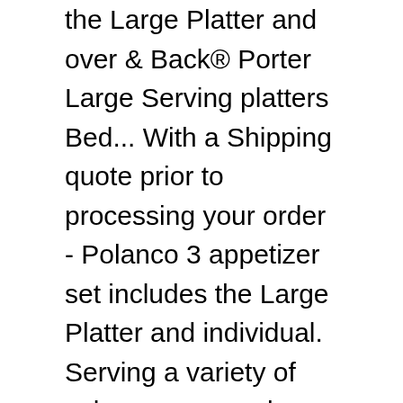the Large Platter and over & Back® Porter Large Serving platters Bed... With a Shipping quote prior to processing your order - Polanco 3 appetizer set includes the Large Platter and individual. Serving a variety of salsas, guacamole, chips and dips piece â€¦ Talavera.! | Conditions of Use | Site Index | Full Site size requirement any! Access to music, movies, TV shows, original audio series, Kindle. The Madd Potter, no project is too Large or too small can ship various! Promotions, and must meet the minimum size requirement after any merchandise discounts standard,! Dish Salad Shallow Maroon Blue 11 " $ 179.50, standard pots, planters... Platters in this category are lead free and safe for Serving food and using